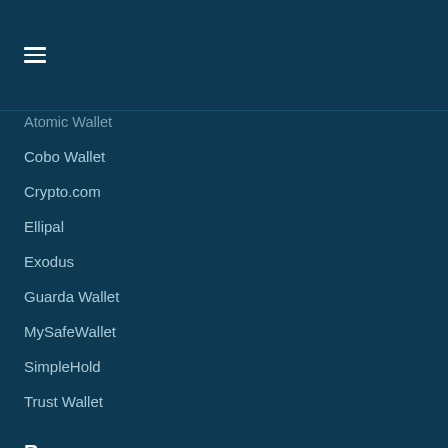☰
Atomic Wallet
Cobo Wallet
Crypto.com
Ellipal
Exodus
Guarda Wallet
MySafeWallet
SimpleHold
Trust Wallet
Resources
News
GitHub
Application Hub
Documentation
VeResearch